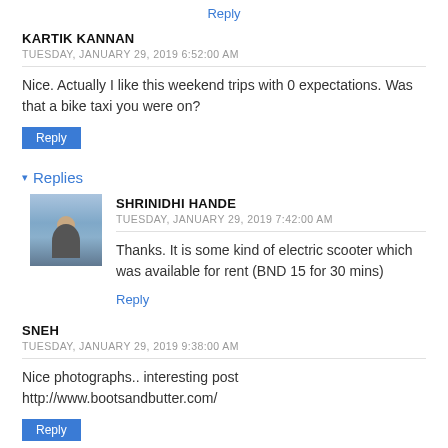Reply
KARTIK KANNAN
TUESDAY, JANUARY 29, 2019 6:52:00 AM
Nice. Actually I like this weekend trips with 0 expectations. Was that a bike taxi you were on?
Reply
▾ Replies
[Figure (photo): Avatar photo of Shrinidhi Hande, a man outdoors with sky background]
SHRINIDHI HANDE
TUESDAY, JANUARY 29, 2019 7:42:00 AM
Thanks. It is some kind of electric scooter which was available for rent (BND 15 for 30 mins)
Reply
SNEH
TUESDAY, JANUARY 29, 2019 9:38:00 AM
Nice photographs.. interesting post http://www.bootsandbutter.com/
Reply